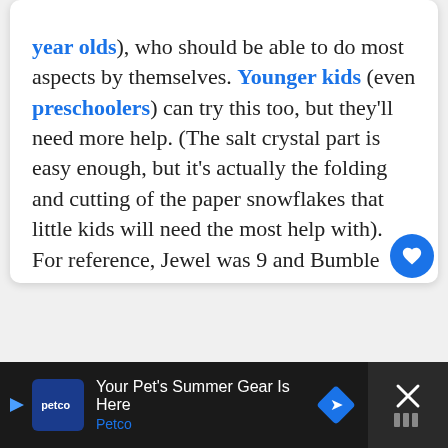year olds), who should be able to do most aspects by themselves. Younger kids (even preschoolers) can try this too, but they'll need more help. (The salt crystal part is easy enough, but it's actually the folding and cutting of the paper snowflakes that little kids will need the most help with). For reference, Jewel was 9 and Bumble Bee 7 when we did this.
[Figure (other): Circular blue heart/favorite button]
[Figure (other): Advertisement bar: Petco - Your Pet's Summer Gear Is Here]